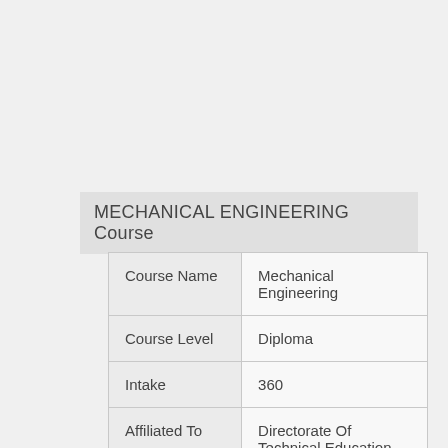MECHANICAL ENGINEERING Course
| Course Name | Mechanical Engineering |
| Course Level | Diploma |
| Intake | 360 |
| Affiliated To | Directorate Of Technical Education, Chennai |
| Specializations |  |